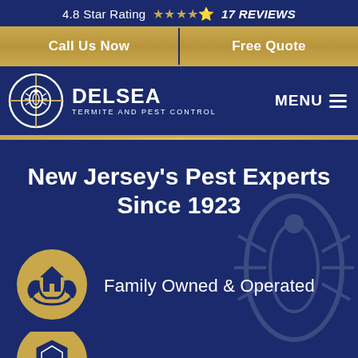4.8 Star Rating ★★★★½ 17 REVIEWS
Call Us Now
Free Quote
[Figure (logo): Delsea Termite and Pest Control logo — circular crosshair with pest icon, white on navy, with brand name DELSEA and tagline TERMITE AND PEST CONTROL]
MENU ☰
New Jersey's Pest Experts Since 1923
[Figure (illustration): Gold circle icon with hands cradling a house — Family Owned & Operated]
Family Owned & Operated
[Figure (illustration): Gold circle icon with a shield — partially visible at bottom of page]